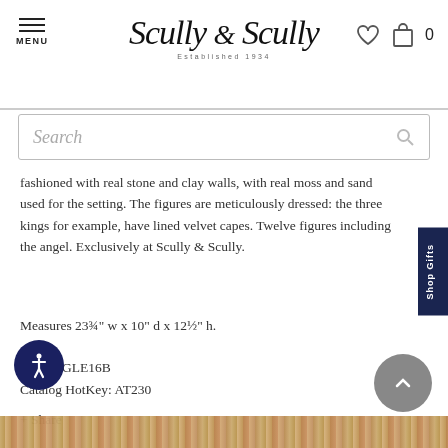Scully & Scully — Established 1934 — MENU — Cart 0
[Figure (screenshot): Search bar with italic placeholder text 'Search' and magnifying glass icon]
fashioned with real stone and clay walls, with real moss and sand used for the setting. The figures are meticulously dressed: the three kings for example, have lined velvet capes. Twelve figures including the angel. Exclusively at Scully & Scully.
Measures 23¾" w x 10" d x 12½" h.
Item #: GLE16B
Catalog HotKey: AT230
+ Share